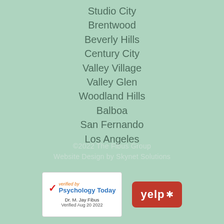Studio City
Brentwood
Beverly Hills
Century City
Valley Village
Valley Glen
Woodland Hills
Balboa
San Fernando
Los Angeles
©2022 The Fibus Group
Website Design by Skynet Solutions
[Figure (logo): Psychology Today verified badge for Dr. M. Jay Fibus, Verified Aug 20 2022]
[Figure (logo): Yelp logo badge]